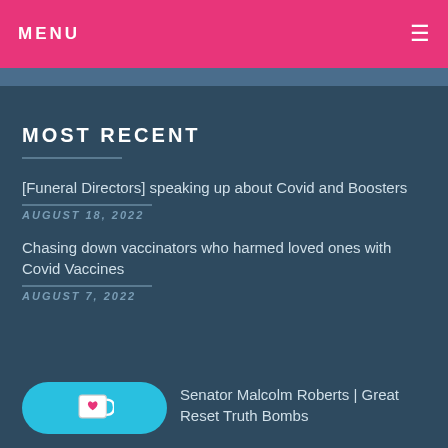MENU
MOST RECENT
[Funeral Directors] speaking up about Covid and Boosters
AUGUST 18, 2022
Chasing down vaccinators who harmed loved ones with Covid Vaccines
AUGUST 7, 2022
Senator Malcolm Roberts | Great Reset Truth Bombs